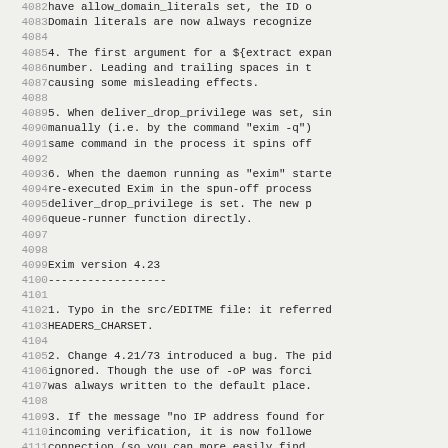4082    have allow_domain_literals set, the ID o
4083    Domain literals are now always recognize
4085 4. The first argument for a ${extract expan
4086    number. Leading and trailing spaces in t
4087    causing some misleading effects.
4089 5. When deliver_drop_privilege was set, sin
4090    manually (i.e. by the command "exim -q")
4091    same command in the process it spins off
4093 6. When the daemon running as "exim" starte
4094    re-executed Exim in the spun-off process
4095    deliver_drop_privilege is set. The new p
4096    queue-runner function directly.
4099 Exim version 4.23
4100 ------------------
4102 1. Typo in the src/EDITME file: it referred
4103    HEADERS_CHARSET.
4105 2. Change 4.21/73 introduced a bug. The pid
4106    ignored. Though the use of -oP was forci
4107    was always written to the default place.
4109 3. If the message "no IP address found for
4110    incoming verification, it is now followe
4111    connection (so you can more easily find
4113 4. Bug fix for Sieve filters: "stop" inside